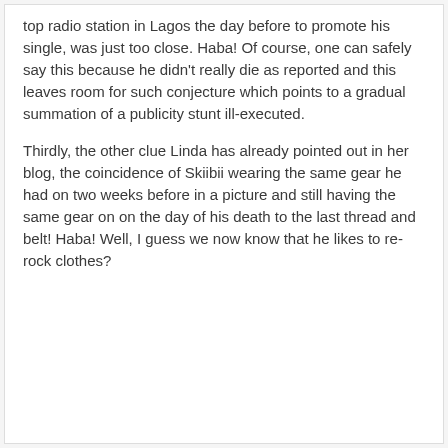top radio station in Lagos the day before to promote his single, was just too close. Haba! Of course, one can safely say this because he didn't really die as reported and this leaves room for such conjecture which points to a gradual summation of a publicity stunt ill-executed.
Thirdly, the other clue Linda has already pointed out in her blog, the coincidence of Skiibii wearing the same gear he had on two weeks before in a picture and still having the same gear on on the day of his death to the last thread and belt! Haba! Well, I guess we now know that he likes to re-rock clothes?